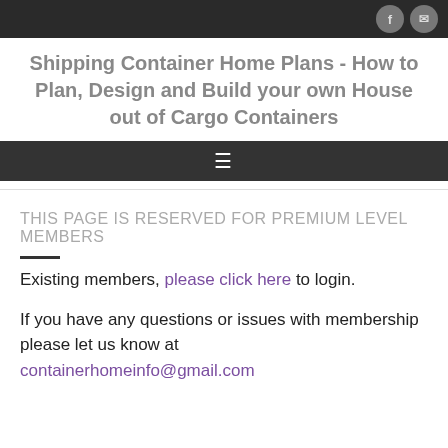Shipping Container Home Plans - How to Plan, Design and Build your own House out of Cargo Containers
THIS PAGE IS RESERVED FOR PREMIUM LEVEL MEMBERS
Existing members, please click here to login.
If you have any questions or issues with membership please let us know at containerhomeinfo@gmail.com